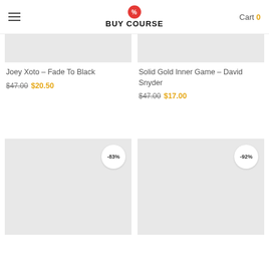BUY COURSE
Joey Xoto – Fade To Black
$47.00 $20.50
Solid Gold Inner Game – David Snyder
$47.00 $17.00
[Figure (other): Product image placeholder with -83% badge]
[Figure (other): Product image placeholder with -92% badge]